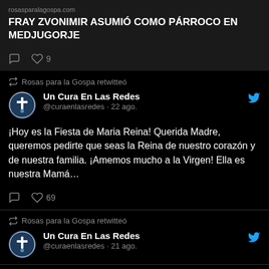rosasparalagospa.com
FRAY ZVONIMIR ASUMIÓ COMO PÁRROCO EN MEDJUGORJE
♡ 9
Rosas para la Gospa retwitteó
Un Cura En Las Redes @curaenlasredes · 22 ago.
¡Hoy es la Fiesta de Maria Reina! Querida Madre, queremos pedirte que seas la Reina de nuestro corazón y de nuestra familia. ¡Amemos mucho a la Virgen! Ella es nuestra Mamá…
♡ 69
Rosas para la Gospa retwitteó
Un Cura En Las Redes @curaenlasredes · 21 ago.